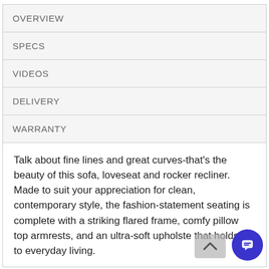OVERVIEW
SPECS
VIDEOS
DELIVERY
WARRANTY
Talk about fine lines and great curves-that's the beauty of this sofa, loveseat and rocker recliner. Made to suit your appreciation for clean, contemporary style, the fashion-statement seating is complete with a striking flared frame, comfy pillow top armrests, and an ultra-soft upholste that holds up to everyday living.